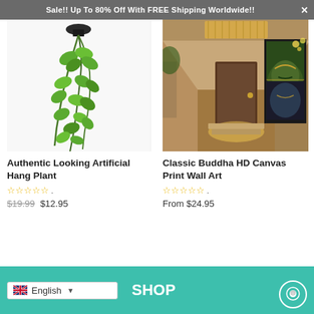Sale!! Up To 80% Off With FREE Shipping Worldwide!!
[Figure (photo): Artificial hanging plant with green leaves on a white wall background]
Authentic Looking Artificial Hang Plant
☆☆☆☆☆ .
$19.99 $12.95
[Figure (photo): Classic Buddha HD canvas print wall art displayed in a luxury hallway interior]
Classic Buddha HD Canvas Print Wall Art
☆☆☆☆☆ .
From $24.95
English SHOP